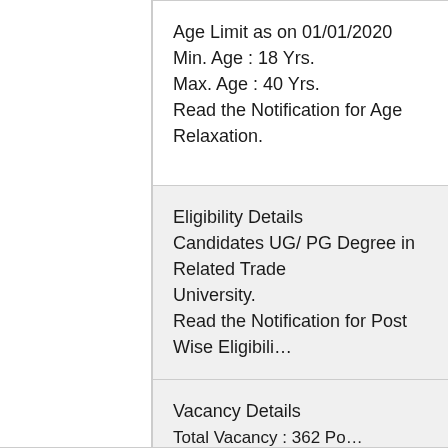Age Limit as on 01/01/2020
Min. Age : 18 Yrs.
Max. Age : 40 Yrs.
Read the Notification for Age Relaxation.
Eligibility Details
Candidates UG/ PG Degree in Related Trade University.
Read the Notification for Post Wise Eligibility.
Vacancy Details
Total Vacancy : 362 Posts